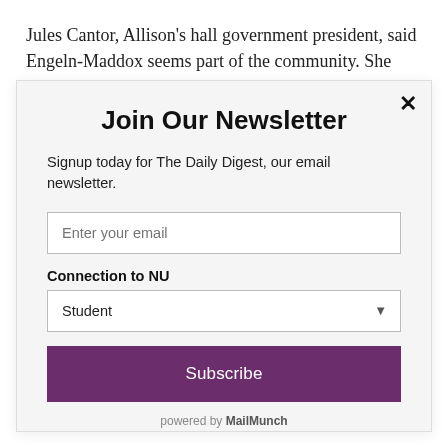Jules Cantor, Allison's hall government president, said Engeln-Maddox seems part of the community. She hosts
Join Our Newsletter
Signup today for The Daily Digest, our email newsletter.
Enter your email
Connection to NU
Student
Subscribe
powered by MailMunch